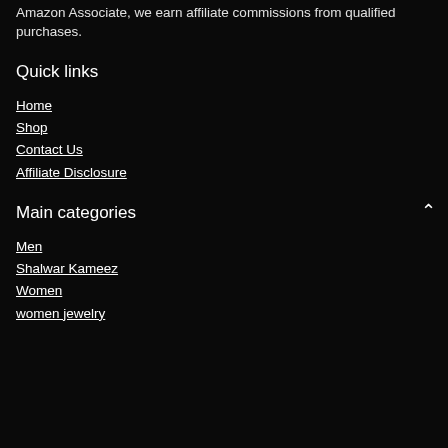Amazon Associate, we earn affiliate commissions from qualified purchases.
Quick links
Home
Shop
Contact Us
Affiliate Disclosure
Main categories
Men
Shalwar Kameez
Women
women jewelry